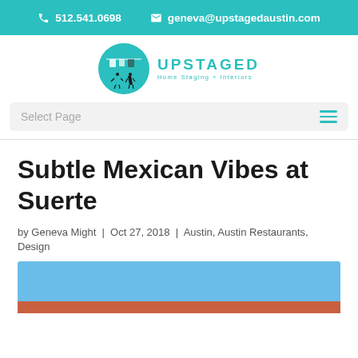512.541.0698  geneva@upstagedaustin.com
[Figure (logo): Upstaged Home Staging + Interiors circular teal logo with silhouette figures, and brand name UPSTAGED with tagline Home Staging + Interiors]
Select Page
Subtle Mexican Vibes at Suerte
by Geneva Might | Oct 27, 2018 | Austin, Austin Restaurants, Design
[Figure (photo): Blue sky and rooftop photo, partially visible at bottom of page]